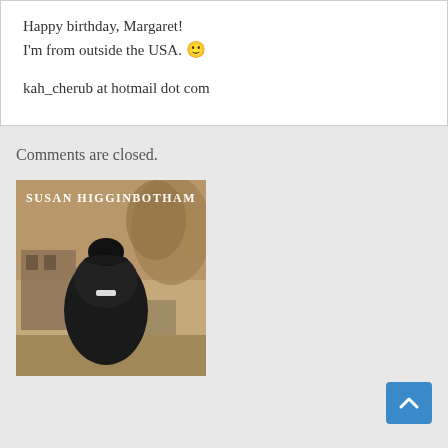Happy birthday, Margaret!
I'm from outside the USA. 🙂

kah_cherub at hotmail dot com
Comments are closed.
[Figure (photo): Book cover showing a woman in Victorian black dress viewed from behind, with text 'SUSAN HIGGINBOTHAM' at the top, against a sepia-toned background with buildings and trees.]